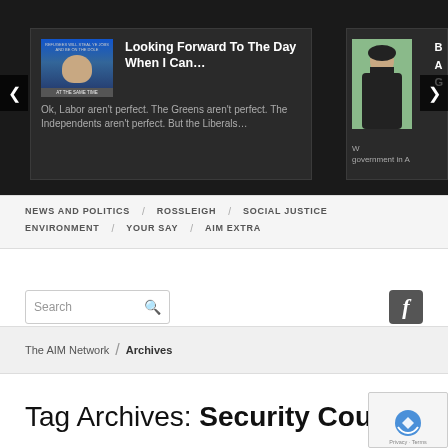[Figure (screenshot): Website slider showing article card: 'Looking Forward To The Day When I Can...' with excerpt 'Ok, Labor aren't perfect. The Greens aren't perfect. The Independents aren't perfect. But the Liberals...' and a partial second card on the right with navigation arrows]
NEWS AND POLITICS  ROSSLEIGH  SOCIAL JUSTICE  ENVIRONMENT  YOUR SAY  AIM EXTRA
Search
The AIM Network / Archives
Tag Archives: Security Council